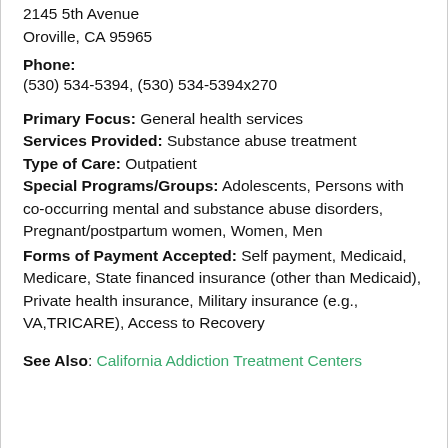2145 5th Avenue
Oroville, CA 95965
Phone:
(530) 534-5394, (530) 534-5394x270
Primary Focus: General health services
Services Provided: Substance abuse treatment
Type of Care: Outpatient
Special Programs/Groups: Adolescents, Persons with co-occurring mental and substance abuse disorders, Pregnant/postpartum women, Women, Men
Forms of Payment Accepted: Self payment, Medicaid, Medicare, State financed insurance (other than Medicaid), Private health insurance, Military insurance (e.g., VA,TRICARE), Access to Recovery
See Also: California Addiction Treatment Centers